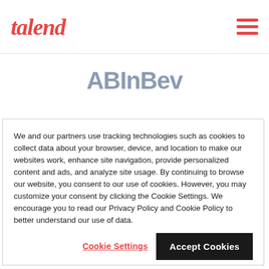talend [hamburger menu icon]
[Figure (logo): ABInBev logo in steel blue/grey color, large bold sans-serif text]
[Figure (logo): Citi bank logo - partial arc shape with 'citi' text in grey-blue, partially obscured by cookie overlay]
We and our partners use tracking technologies such as cookies to collect data about your browser, device, and location to make our websites work, enhance site navigation, provide personalized content and ads, and analyze site usage. By continuing to browse our website, you consent to our use of cookies. However, you may customize your consent by clicking the Cookie Settings. We encourage you to read our Privacy Policy and Cookie Policy to better understand our use of data.
Cookie Settings | Accept Cookies